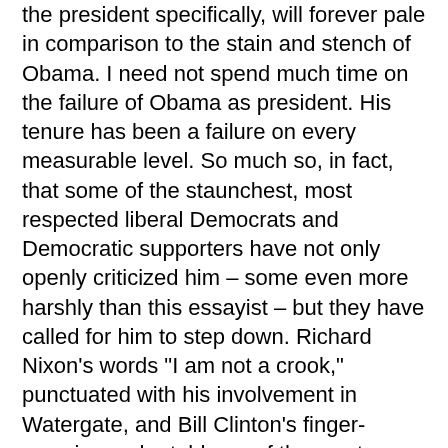the president specifically, will forever pale in comparison to the stain and stench of Obama. I need not spend much time on the failure of Obama as president. His tenure has been a failure on every measurable level. So much so, in fact, that some of the staunchest, most respected liberal Democrats and Democratic supporters have not only openly criticized him – some even more harshly than this essayist – but they have called for him to step down. Richard Nixon's words "I am not a crook," punctuated with his involvement in Watergate, and Bill Clinton's finger-wagging as he told one of the most pathetic lies in presidential history, in the aftermath of Obama, will be viewed as mere prevarications.

Mr. Nixon and Clinton lied to save their backsides. Although, I would argue there are no plausible explanations for doing what they did, I could entertain arguments pursuant to understanding their rationales for lying. But in the case of Obama, he lies because